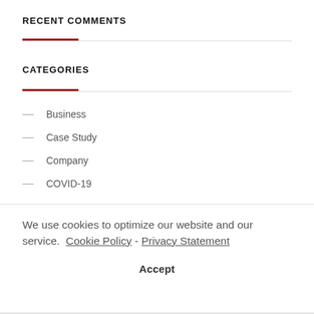RECENT COMMENTS
CATEGORIES
Business
Case Study
Company
COVID-19
We use cookies to optimize our website and our service.  Cookie Policy -  Privacy Statement
Accept